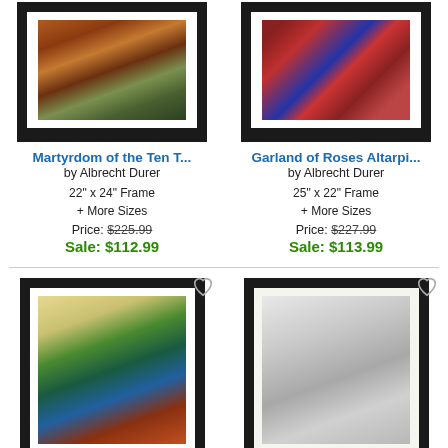[Figure (photo): Framed art print - Martyrdom of the Ten Thousand by Albrecht Durer, colorful crowd scene painting]
Martyrdom of the Ten T...
by Albrecht Durer
22" x 24" Frame
+ More Sizes
Price: $225.99
Sale: $112.99
[Figure (photo): Framed art print - Garland of Roses Altarpiece by Albrecht Durer, figures in red and blue robes]
Garland of Roses Altarpi...
by Albrecht Durer
25" x 22" Frame
+ More Sizes
Price: $227.99
Sale: $113.99
[Figure (photo): Framed art print - colorful bird wing illustration with green, blue and brown feathers on cream background]
[Figure (photo): Framed art print - detailed architectural drawing of ornate building facade in black and white]